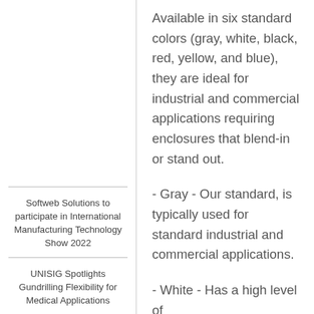Available in six standard colors (gray, white, black, red, yellow, and blue), they are ideal for industrial and commercial applications requiring enclosures that blend-in or stand out.
Softweb Solutions to participate in International Manufacturing Technology Show 2022
UNISIG Spotlights Gundrilling Flexibility for Medical Applications
- Gray - Our standard, is typically used for standard industrial and commercial applications.
- White - Has a high level of